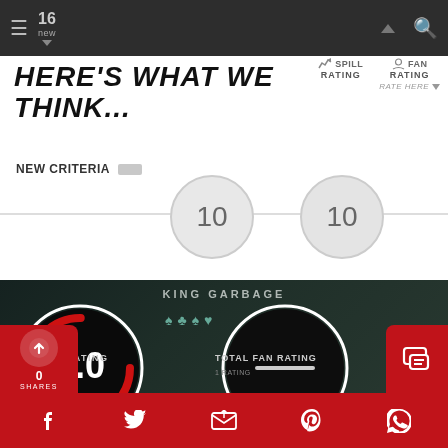16 new
HERE'S WHAT WE THINK...
SPILL RATING | FAN RATING | RATE HERE
NEW CRITERIA
[Figure (infographic): Two slider circles both showing value 10 on a horizontal line, representing SPILL RATING and FAN RATING sliders]
[Figure (infographic): Dark section showing KING GARBAGE title with two circular gauges: left gauge showing 8.0 (SPILL RATING) with red arc indicator, right gauge showing dash (TOTAL FAN RATING) - dark background with card suit symbols]
L SPILL RATING
TOTAL FAN RATING
1 RATING
0 SHARES — social share icons: Facebook, Twitter, Email, Pinterest, WhatsApp, Chat